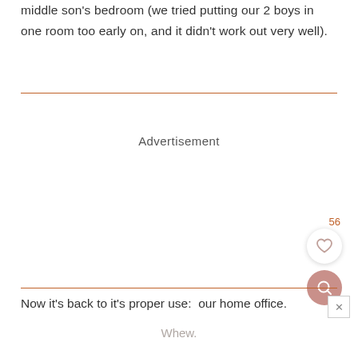middle son's bedroom (we tried putting our 2 boys in one room too early on, and it didn't work out very well).
Advertisement
[Figure (other): Like/heart button with count 56 and a search/magnify button below it]
Now it's back to it's proper use:  our home office.
Whew.